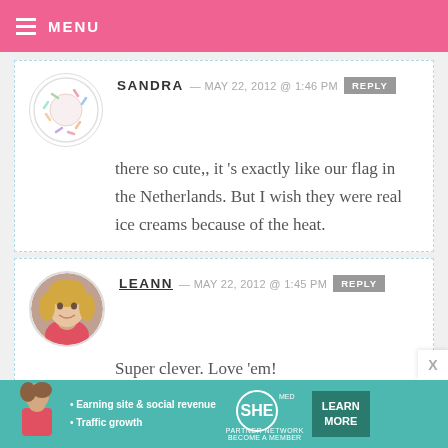MENU
SANDRA — MAY 22, 2012 @ 1:46 PM REPLY
there so cute,, it 's exactly like our flag in the Netherlands. But I wish they were real ice creams because of the heat.
LEANN — MAY 22, 2012 @ 1:45 PM REPLY
Super clever. Love 'em!
[Figure (photo): Ad banner for SHE Partner Network with text: Earning site & social revenue, Traffic growth, LEARN MORE]